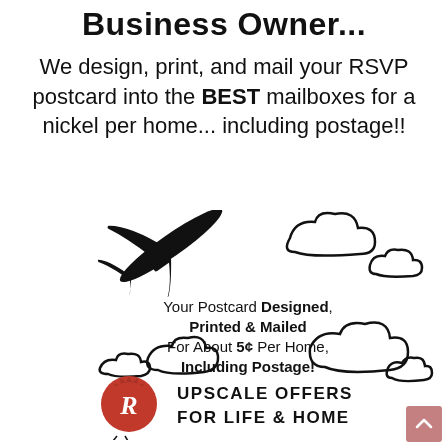Business Owner...
We design, print, and mail your RSVP postcard into the BEST mailboxes for a nickel per home... including postage!!
[Figure (illustration): Silhouette of a commercial airplane flying upward to the right, surrounded by illustrated clouds. Text overlay reads: Your Postcard Designed, Printed & Mailed For About 5¢ Per Home, Including Postage!]
[Figure (logo): Red wax seal with cursive R letter, beside the text UPSCALE OFFERS FOR LIFE & HOME in bold spaced caps.]